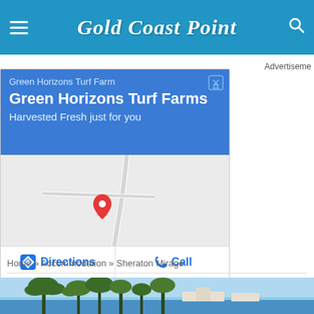Gold Coast Point
Advertisement
[Figure (screenshot): Google ad for Green Horizons Turf Farm showing business name, tagline 'Harvested Fresh just for you', a map with a red pin marker, and Directions and Call buttons]
Home » Accommodation » Sheraton Mirage
[Figure (photo): Partial photo of a tropical resort with palm trees and blue sky, partially visible at the bottom of the page]